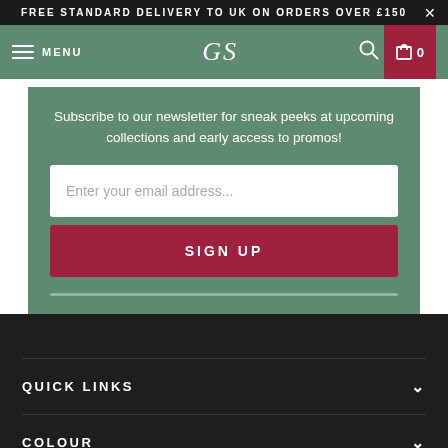FREE STANDARD DELIVERY TO UK ON ORDERS OVER £150
[Figure (screenshot): Navigation bar with hamburger menu, GS logo, search icon, and cart icon showing 0]
Subscribe to our newsletter for sneak peeks at upcoming collections and early access to promos!
Enter your email address...
SIGN UP
QUICK LINKS
COLOUR